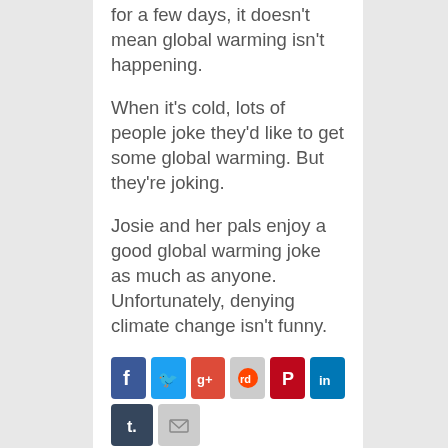for a few days, it doesn't mean global warming isn't happening.
When it's cold, lots of people joke they'd like to get some global warming. But they're joking.
Josie and her pals enjoy a good global warming joke as much as anyone. Unfortunately, denying climate change isn't funny.
[Figure (infographic): Social sharing icons: Facebook, Twitter, Google+, Reddit, Pinterest, LinkedIn, Tumblr, Email/Mail]
Share this: